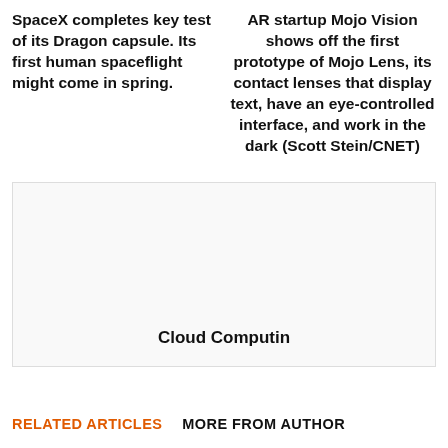SpaceX completes key test of its Dragon capsule. Its first human spaceflight might come in spring.
AR startup Mojo Vision shows off the first prototype of Mojo Lens, its contact lenses that display text, have an eye-controlled interface, and work in the dark (Scott Stein/CNET)
[Figure (other): Image placeholder box with label 'Cloud Computin']
RELATED ARTICLES
MORE FROM AUTHOR